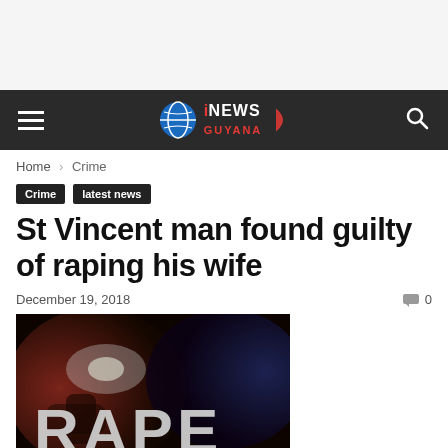[Figure (other): Advertisement/banner space at top of page]
iNEWS GUYANA — navigation bar with hamburger menu, logo, and search icon
Home › Crime
Crime   latest news
St Vincent man found guilty of raping his wife
December 19, 2018    0
[Figure (photo): Dark dramatic image with police lights in background and the word RAPE in large distressed text]